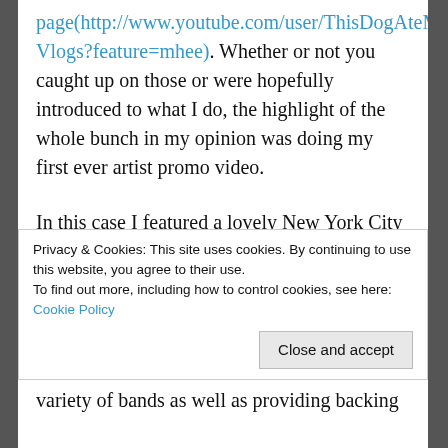page(http://www.youtube.com/user/ThisDogAteMy Vlogs?feature=mhee). Whether or not you caught up on those or were hopefully introduced to what I do, the highlight of the whole bunch in my opinion was doing my first ever artist promo video.
In this case I featured a lovely New York City area artist by the name of Jessica Allyn, whom I've had the pleasure to follow off and on since somewhere in the period of 2009/2010. Since early 2009 she's released a stellar debut EP called “I Am A Camera”, a highly underrated full length entitled “Delusions of Grandeur”, a series of demo songs
Privacy & Cookies: This site uses cookies. By continuing to use this website, you agree to their use.
To find out more, including how to control cookies, see here: Cookie Policy
variety of bands as well as providing backing